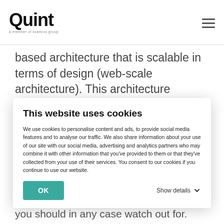Quint — a member of svancos group
based architecture that is scalable in terms of design (web-scale architecture). This architecture enables an organization to build, in an agile way, systems that...
This website uses cookies
We use cookies to personalise content and ads, to provide social media features and to analyse our traffic. We also share information about your use of our site with our social media, advertising and analytics partners who may combine it with other information that you've provided to them or that they've collected from your use of their services. You consent to our cookies if you continue to use our website.
you should in any case watch out for.